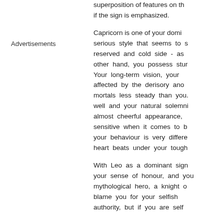superposition of features on the if the sign is emphasized.
Advertisements
Capricorn is one of your domi serious style that seems to s reserved and cold side - as other hand, you possess stur Your long-term vision, your affected by the derisory ano mortals less steady than you. well and your natural solemni almost cheerful appearance, sensitive when it comes to b your behaviour is very differe heart beats under your tough
With Leo as a dominant sign your sense of honour, and you mythological hero, a knight o blame you for your selfish authority, but if you are self